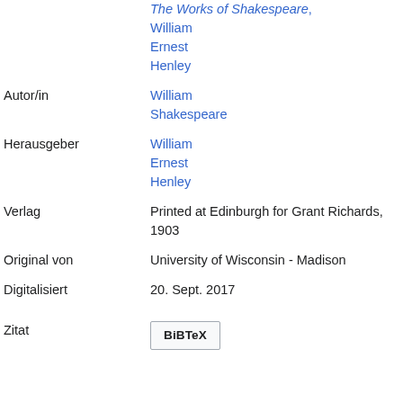|  |  |
| --- | --- |
|  | The Works of Shakespeare, William Ernest Henley |
| Autor/in | William Shakespeare |
| Herausgeber | William Ernest Henley |
| Verlag | Printed at Edinburgh for Grant Richards, 1903 |
| Original von | University of Wisconsin - Madison |
| Digitalisiert | 20. Sept. 2017 |
| Zitat | BiBTeX |